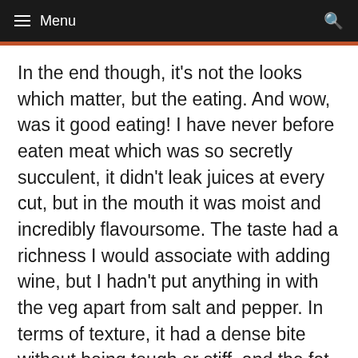≡ Menu
In the end though, it's not the looks which matter, but the eating. And wow, was it good eating! I have never before eaten meat which was so secretly succulent, it didn't leak juices at every cut, but in the mouth it was moist and incredibly flavoursome. The taste had a richness I would associate with adding wine, but I hadn't put anything in with the veg apart from salt and pepper. In terms of texture, it had a dense bite without being tough or stiff, and the fat from the top managed not to feel greasy even towards the end of the meal as it began to cool. Oh, and the gravy formed by